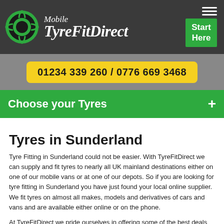[Figure (logo): Mobile TyreFitDirect logo with green tyre graphic and italic text on dark grey header background]
01234 339 260 / 0776 669 3468
Choose your Tyres +
Tyres in Sunderland
Tyre Fitting in Sunderland could not be easier. With TyreFitDirect we can supply and fit tyres to nearly all UK mainland destinations either on one of our mobile vans or at one of our depots. So if you are looking for tyre fitting in Sunderland you have just found your local online supplier. We fit tyres on almost all makes, models and derivatives of cars and vans and are available either online or on the phone.
At TyreFitDirect we pride ourselves in offering some of the best deals